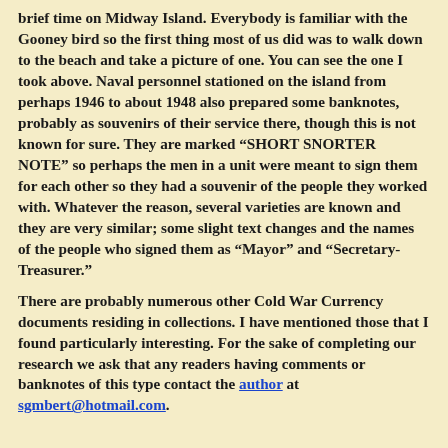brief time on Midway Island. Everybody is familiar with the Gooney bird so the first thing most of us did was to walk down to the beach and take a picture of one. You can see the one I took above. Naval personnel stationed on the island from perhaps 1946 to about 1948 also prepared some banknotes, probably as souvenirs of their service there, though this is not known for sure. They are marked “SHORT SNORTER NOTE” so perhaps the men in a unit were meant to sign them for each other so they had a souvenir of the people they worked with. Whatever the reason, several varieties are known and they are very similar; some slight text changes and the names of the people who signed them as “Mayor” and “Secretary-Treasurer.”
There are probably numerous other Cold War Currency documents residing in collections. I have mentioned those that I found particularly interesting. For the sake of completing our research we ask that any readers having comments or banknotes of this type contact the author at sgmbert@hotmail.com.